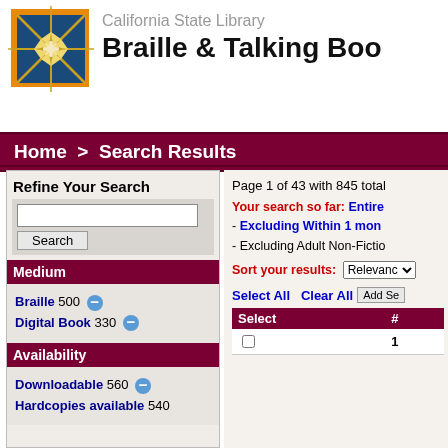[Figure (logo): California State Library star logo — orange border square with blue quadrants and gold star burst]
California State Library Braille & Talking Boo
Home  >  Search Results
Refine Your Search
Medium
Braille 500 [minus]
Digital Book 330 [minus]
Availability
Downloadable 560 [minus]
Hardcopies available 540
Page 1 of 43 with 845 total
Your search so far: Entire - Excluding Within 1 mon - Excluding Adult Non-Fictio
Sort your results: Relevance
Select All  Clear All  Add Se
| Select | # |
| --- | --- |
|  | 1 |